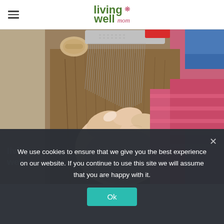living well mom
[Figure (photo): Close-up photo of an adult hand using a fine-tooth metal lice comb on a child's brown hair. The child is wearing a pink striped shirt and has a hair clip. A watermark reads 'living well' with a flower icon in the bottom left of the photo.]
We use cookies to ensure that we give you the best experience on our website. If you continue to use this site we will assume that you are happy with it.